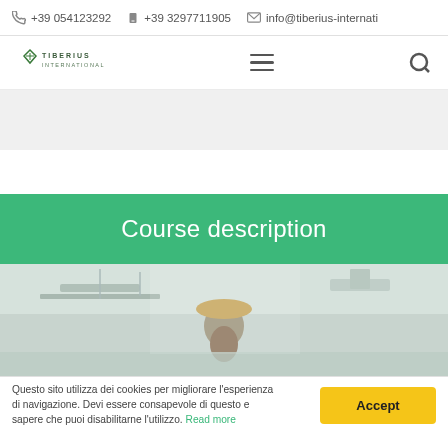+39 054123292   +39 3297711905   info@tiberius-internati...
[Figure (logo): Tiberius International logo with diamond icon and company name]
Course description
[Figure (photo): Aerial or elevated view of sailing/boat course, person with hat visible]
Questo sito utilizza dei cookies per migliorare l'esperienza di navigazione. Devi essere consapevole di questo e sapere che puoi disabilitarne l'utilizzo. Read more